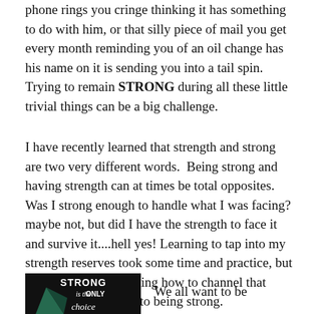phone rings you cringe thinking it has something to do with him, or that silly piece of mail you get every month reminding you of an oil change has his name on it is sending you into a tail spin.  Trying to remain STRONG during all these little trivial things can be a big challenge.
I have recently learned that strength and strong are two very different words.  Being strong and  having strength can at times be total opposites.  Was I strong enough to handle what I was facing? maybe not, but did I have the strength to face it and survive it....hell yes! Learning to tap into my strength reserves took some time and practice, but as of today I am learning how to channel that strength and turn it into being strong.
[Figure (photo): Image showing text 'STRONG is the ONLY choice' in bold/italic mixed typography on a dark background with a decorative graphic element]
We all want to be